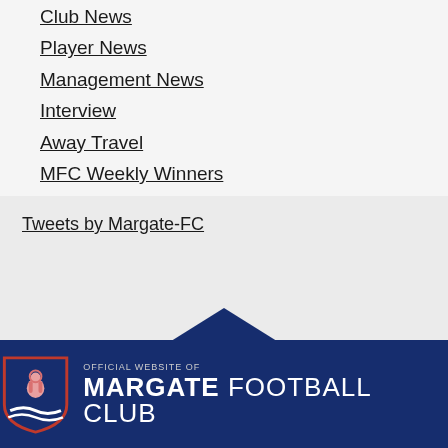Club News
Player News
Management News
Interview
Away Travel
MFC Weekly Winners
Tweets by Margate-FC
[Figure (logo): Margate Football Club official website logo — shield badge on left, 'OFFICIAL WEBSITE OF MARGATE FOOTBALL CLUB' text on right, white on dark navy background with navy triangle shape above]